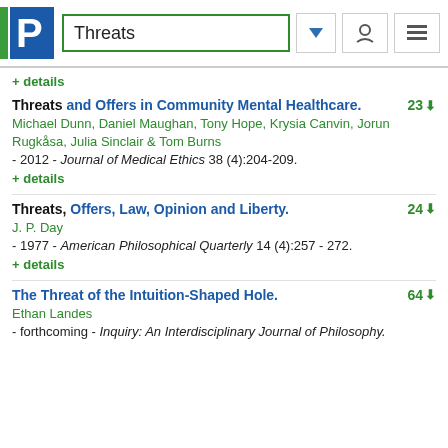Threats
+ details
Threats and Offers in Community Mental Healthcare.
Michael Dunn, Daniel Maughan, Tony Hope, Krysia Canvin, Jorun Rugkåsa, Julia Sinclair & Tom Burns - 2012 - Journal of Medical Ethics 38 (4):204-209.
+ details
Threats, Offers, Law, Opinion and Liberty.
J. P. Day - 1977 - American Philosophical Quarterly 14 (4):257 - 272.
+ details
The Threat of the Intuition-Shaped Hole.
Ethan Landes - forthcoming - Inquiry: An Interdisciplinary Journal of Philosophy.